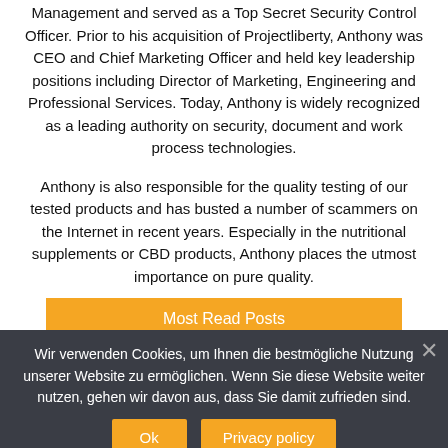Anthony William completed a postgraduate degree in Information Management and served as a Top Secret Security Control Officer. Prior to his acquisition of Projectliberty, Anthony was CEO and Chief Marketing Officer and held key leadership positions including Director of Marketing, Engineering and Professional Services. Today, Anthony is widely recognized as a leading authority on security, document and work process technologies.
Anthony is also responsible for the quality testing of our tested products and has busted a number of scammers on the Internet in recent years. Especially in the nutritional supplements or CBD products, Anthony places the utmost importance on pure quality.
Most Read Posts
Wir verwenden Cookies, um Ihnen die bestmögliche Nutzung unserer Website zu ermöglichen. Wenn Sie diese Website weiter nutzen, gehen wir davon aus, dass Sie damit zufrieden sind.